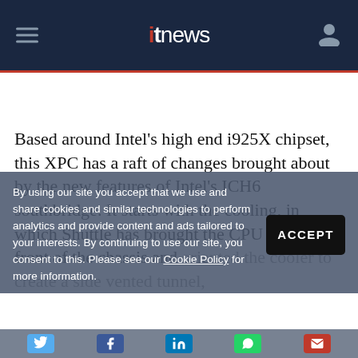itnews
Based around Intel's high end i925X chipset, this XPC has a raft of changes brought about by the new features of Intel's ICH6 southbridge. It starts with the cooling, in which Shuttle has brought the CPU to the front of the chassis and oriented the cooler to create a side vented tunnel,
By using our site you accept that we use and share cookies and similar technologies to perform analytics and provide content and ads tailored to your interests. By continuing to use our site, you consent to this. Please see our Cookie Policy for more information.